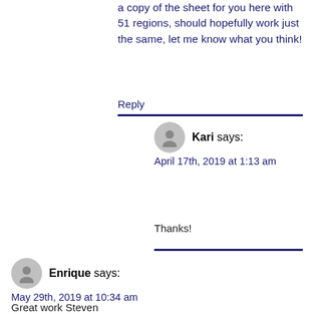a copy of the sheet for you here with 51 regions, should hopefully work just the same, let me know what you think!
Reply
Kari says:
April 17th, 2019 at 1:13 am
Thanks!
Enrique says:
May 29th, 2019 at 10:34 am
Great work Steven
Would it be possible to vary/add the votes per region instead of just one total amount, keeping the thresholds per re...